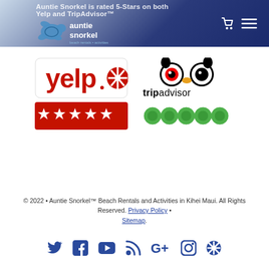Auntie Snorkel is rated 5-Stars on both Yelp and TripAdvisor™
[Figure (logo): Auntie Snorkel beach rentals activities logo with turtle illustration]
[Figure (logo): Yelp logo with 5-star rating bar (red stars on red background)]
[Figure (logo): TripAdvisor logo with 5-circle rating (green circles)]
© 2022 • Auntie Snorkel™ Beach Rentals and Activities in Kihei Maui. All Rights Reserved. Privacy Policy • Sitemap.
[Figure (infographic): Social media icons row: Twitter, Facebook, YouTube, RSS, Google+, Instagram, Yelp]